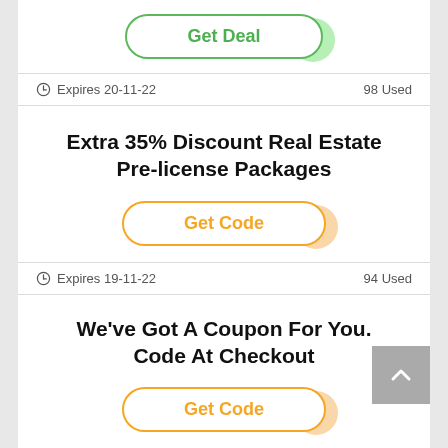[Figure (other): Get Deal button with green pill shape and green blob on right side]
Expires 20-11-22     98 Used
Extra 35% Discount Real Estate Pre-license Packages
[Figure (other): Get Code button with orange pill shape and orange blob on right side]
Expires 19-11-22     94 Used
We've Got A Coupon For You. Code At Checkout
[Figure (other): Get Code button with orange pill shape and orange blob on right side]